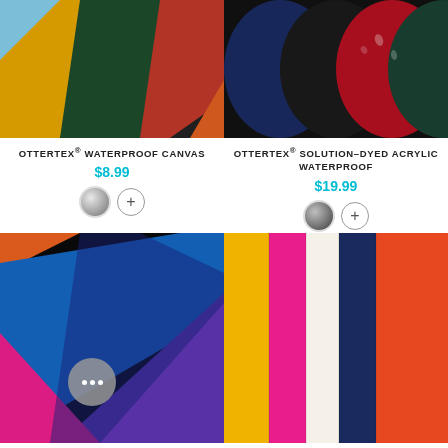[Figure (photo): Folded colorful fabric swatches including yellow, dark green, blue, red/orange on dark background - Ottertex Waterproof Canvas]
OTTERTEX® WATERPROOF CANVAS
$8.99
[Figure (photo): Rolled colorful fabric swatches including navy, black, red, dark green - Ottertex Solution-Dyed Acrylic Waterproof]
OTTERTEX® SOLUTION-DYED ACRYLIC WATERPROOF
$19.99
[Figure (photo): Folded colorful fabric swatches in blue, purple, magenta/hot pink, orange - bottom left product with chat bubble overlay]
[Figure (photo): Vertical strips of colorful fabric in yellow, magenta, cream/white, navy, orange - bottom right product]